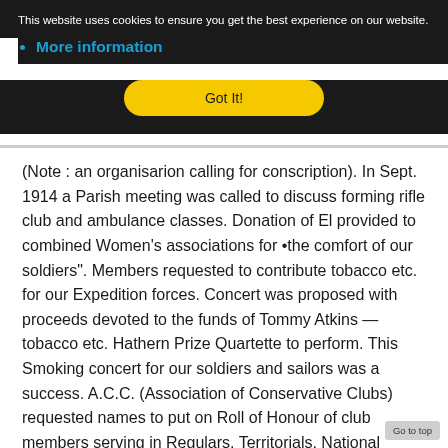This website uses cookies to ensure you get the best experience on our website.
More information
Got It!
(Note : an organisarion calling for conscription). In Sept. 1914 a Parish meeting was called to discuss forming rifle club and ambulance classes. Donation of El provided to combined Women's associations for •the comfort of our soldiers". Members requested to contribute tobacco etc. for our Expedition forces. Concert was proposed with proceeds devoted to the funds of Tommy Atkins — tobacco etc. Hathern Prize Quartette to perform. This Smoking concert for our soldiers and sailors was a success. A.C.C. (Association of Conservative Clubs) requested names to put on Roll of Honour of club members serving in Regulars, Territorials, National Reserve. Lord Kitcheners Army or as Scout Leaders etc. Nov 1914. Red Cross requested permission to put a collection box in club. Dec